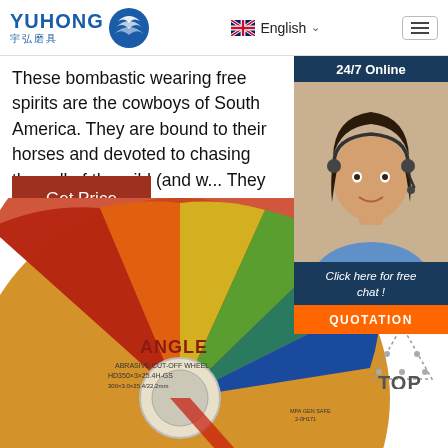[Figure (logo): YUHONG 宇弘磨具 logo with blue wave/globe icon]
English (language selector with UK flag)
These bombastic wearing free spirits are the cowboys of South America. They are bound to their horses and devoted to chasing the call of the wild (and w... They are famously brave, notoriously ...
Get Price
[Figure (photo): Colorful ANGLE abrasive grinding disc with rainbow pattern, product label visible]
[Figure (photo): 24/7 Online chat widget showing female customer service representative with headset, Click here for free chat!, QUOTATION button]
[Figure (logo): TOP badge with triangle/dots icon]